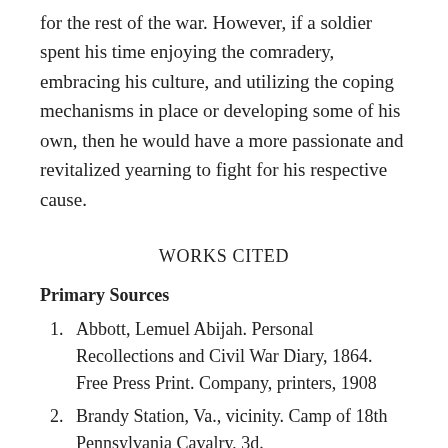for the rest of the war. However, if a soldier spent his time enjoying the comradery, embracing his culture, and utilizing the coping mechanisms in place or developing some of his own, then he would have a more passionate and revitalized yearning to fight for his respective cause.
WORKS CITED
Primary Sources
Abbott, Lemuel Abijah. Personal Recollections and Civil War Diary, 1864. Free Press Print. Company, printers, 1908
Brandy Station, Va., vicinity. Camp of 18th Pennsylvania Cavalry, 3d.